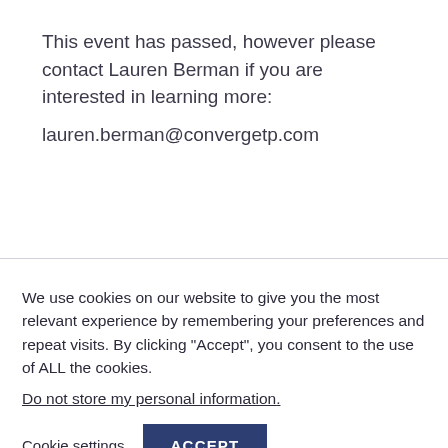This event has passed, however please contact Lauren Berman if you are interested in learning more:
lauren.berman@convergetp.com
We use cookies on our website to give you the most relevant experience by remembering your preferences and repeat visits. By clicking “Accept”, you consent to the use of ALL the cookies.
Do not store my personal information.
Cookie settings  ACCEPT